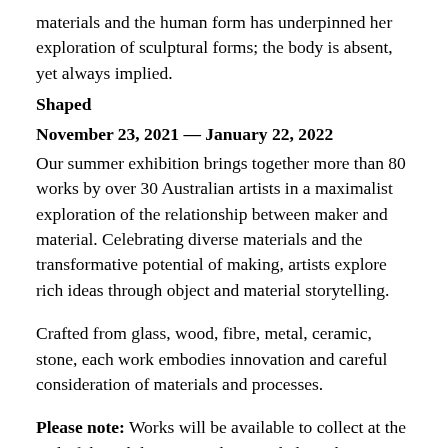materials and the human form has underpinned her exploration of sculptural forms; the body is absent, yet always implied.
Shaped
November 23, 2021 — January 22, 2022
Our summer exhibition brings together more than 80 works by over 30 Australian artists in a maximalist exploration of the relationship between maker and material. Celebrating diverse materials and the transformative potential of making, artists explore rich ideas through object and material storytelling.
Crafted from glass, wood, fibre, metal, ceramic, stone, each work embodies innovation and careful consideration of materials and processes.
Please note: Works will be available to collect at the end of the exhibition. Works intended as Christmas